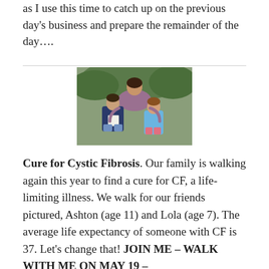as I use this time to catch up on the previous day's business and prepare the remainder of the day….
[Figure (photo): A woman with two children (a boy and a girl) posing together outdoors in front of green ferns/plants. The boy is holding a piece of paper.]
Cure for Cystic Fibrosis.  Our family is walking again this year to find a cure for CF, a life-limiting illness. We walk for our friends pictured, Ashton (age 11) and Lola (age 7). The average life expectancy of someone with CF is 37. Let's change that!  JOIN ME – WALK WITH ME ON MAY 19 –